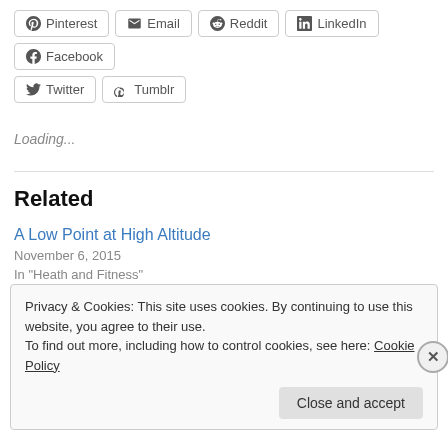Pinterest Email Reddit LinkedIn Facebook Twitter Tumblr
Loading...
Related
A Low Point at High Altitude
November 6, 2015
In "Heath and Fitness"
Privacy & Cookies: This site uses cookies. By continuing to use this website, you agree to their use. To find out more, including how to control cookies, see here: Cookie Policy
Close and accept